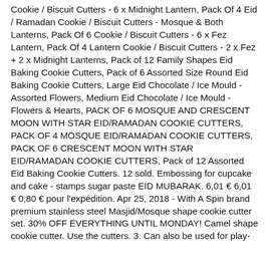Cookie / Biscuit Cutters - 6 x Midnight Lantern, Pack Of 4 Eid / Ramadan Cookie / Biscuit Cutters - Mosque & Both Lanterns, Pack Of 6 Cookie / Biscuit Cutters - 6 x Fez Lantern, Pack Of 4 Lantern Cookie / Biscuit Cutters - 2 x Fez + 2 x Midnight Lanterns, Pack of 12 Family Shapes Eid Baking Cookie Cutters, Pack of 6 Assorted Size Round Eid Baking Cookie Cutters, Large Eid Chocolate / Ice Mould - Assorted Flowers, Medium Eid Chocolate / Ice Mould - Flowers & Hearts, PACK OF 6 MOSQUE AND CRESCENT MOON WITH STAR EID/RAMADAN COOKIE CUTTERS, PACK OF 4 MOSQUE EID/RAMADAN COOKIE CUTTERS, PACK OF 6 CRESCENT MOON WITH STAR EID/RAMADAN COOKIE CUTTERS, Pack of 12 Assorted Eid Baking Cookie Cutters. 12 sold. Embossing for cupcake and cake - stamps sugar paste EID MUBARAK. 6,01 € 6,01 € 0,80 € pour l'expédition. Apr 25, 2018 - With A Spin brand premium stainless steel Masjid/Mosque shape cookie cutter set. 30% OFF EVERYTHING UNTIL MONDAY! Camel shape cookie cutter. Use the cutters. 3. Can also be used for play-